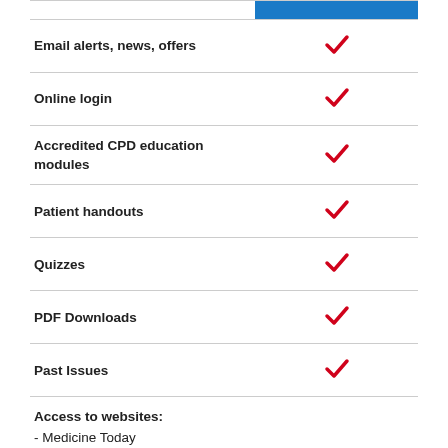| Feature | Subscription |
| --- | --- |
| Email alerts, news, offers | ✓ |
| Online login | ✓ |
| Accredited CPD education modules | ✓ |
| Patient handouts | ✓ |
| Quizzes | ✓ |
| PDF Downloads | ✓ |
| Past Issues | ✓ |
| Access to websites:
- Medicine Today
- ... |  |